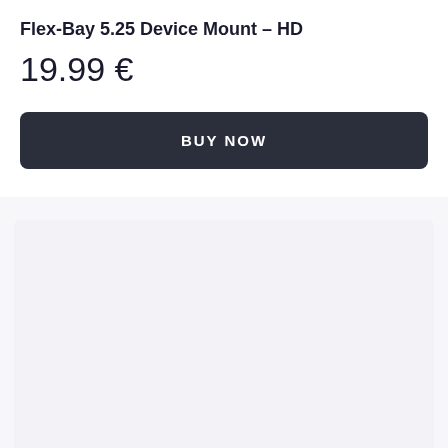Flex-Bay 5.25 Device Mount – HD
19.99 €
BUY NOW
[Figure (other): Empty light gray placeholder area below the buy button section]